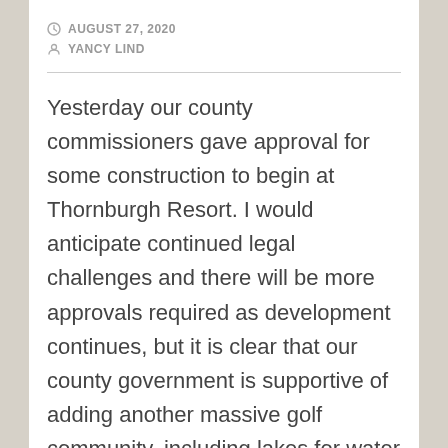AUGUST 27, 2020
YANCY LIND
Yesterday our county commissioners gave approval for some construction to begin at Thornburgh Resort. I would anticipate continued legal challenges and there will be more approvals required as development continues, but it is clear that our county government is supportive of adding another massive golf community, including lakes for water skiing, to Central Oregon. I understand that we are going to continue to grow but without a significant change in the way that growth is managed we are going to run out of water. It has already happened in other west coast communities and we are not immune.